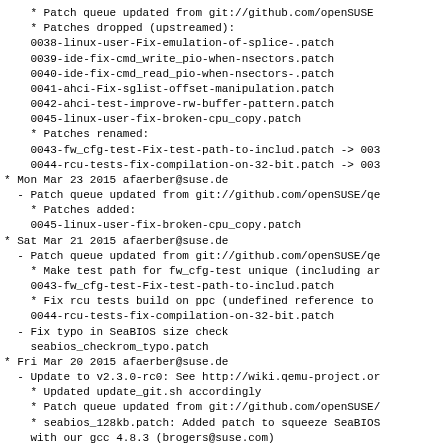* Patch queue updated from git://github.com/openSUSE
* Patches dropped (upstreamed):
  0038-linux-user-Fix-emulation-of-splice-.patch
  0039-ide-fix-cmd_write_pio-when-nsectors.patch
  0040-ide-fix-cmd_read_pio-when-nsectors-.patch
  0041-ahci-Fix-sglist-offset-manipulation.patch
  0042-ahci-test-improve-rw-buffer-pattern.patch
  0045-linux-user-fix-broken-cpu_copy.patch
* Patches renamed:
  0043-fw_cfg-test-Fix-test-path-to-includ.patch -> 003
  0044-rcu-tests-fix-compilation-on-32-bit.patch -> 003
* Mon Mar 23 2015 afaerber@suse.de
  - Patch queue updated from git://github.com/openSUSE/qe
    * Patches added:
      0045-linux-user-fix-broken-cpu_copy.patch
* Sat Mar 21 2015 afaerber@suse.de
  - Patch queue updated from git://github.com/openSUSE/qe
    * Make test path for fw_cfg-test unique (including ar
      0043-fw_cfg-test-Fix-test-path-to-includ.patch
    * Fix rcu tests build on ppc (undefined reference to
      0044-rcu-tests-fix-compilation-on-32-bit.patch
  - Fix typo in SeaBIOS size check
    seabios_checkrom_typo.patch
* Fri Mar 20 2015 afaerber@suse.de
  - Update to v2.3.0-rc0: See http://wiki.qemu-project.or
    * Updated update_git.sh accordingly
    * Patch queue updated from git://github.com/openSUSE/
    * seabios_128kb.patch: Added patch to squeeze SeaBIOS
      with our gcc 4.8.3 (brogers@suse.com)
  - Renamed 0030-Legacy-Patch-kvm-qemu-preXX-report-.patc